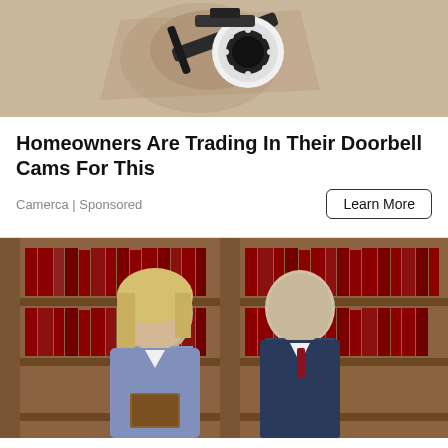[Figure (photo): Security camera mounted on a wall with crumbled plaster, close-up view showing the camera lens and mount]
Homeowners Are Trading In Their Doorbell Cams For This
Camerca | Sponsored
Learn More
[Figure (photo): Two lawyers, a woman with blonde hair in a blue blazer holding a book and a man in a dark suit with a red tie, standing in front of bookshelves filled with law books]
The Most Successful Lawyers In Ashburn